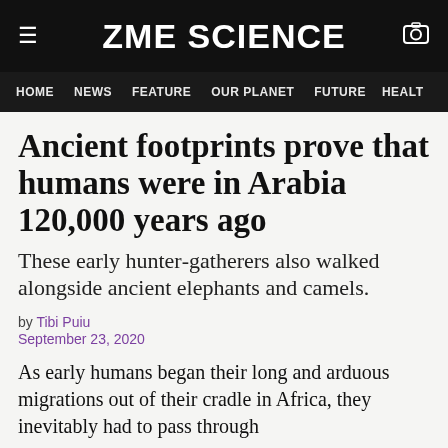ZME SCIENCE
HOME  NEWS  FEATURE  OUR PLANET  FUTURE  HEALT
Ancient footprints prove that humans were in Arabia 120,000 years ago
These early hunter-gatherers also walked alongside ancient elephants and camels.
by Tibi Puiu
September 23, 2020
As early humans began their long and arduous migrations out of their cradle in Africa, they inevitably had to pass through